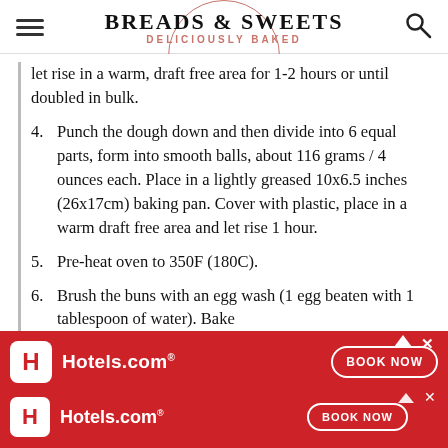BREADS & SWEETS DELICIOUSLY BAKED
let rise in a warm, draft free area for 1-2 hours or until doubled in bulk.
4. Punch the dough down and then divide into 6 equal parts, form into smooth balls, about 116 grams / 4 ounces each. Place in a lightly greased 10x6.5 inches (26x17cm) baking pan. Cover with plastic, place in a warm draft free area and let rise 1 hour.
5. Pre-heat oven to 350F (180C).
6. Brush the buns with an egg wash (1 egg beaten with 1 tablespoon of water). Bake
[Figure (screenshot): Hotels.com advertisement banner with red background, H logo, Hotels.com text, and BOOK NOW button]